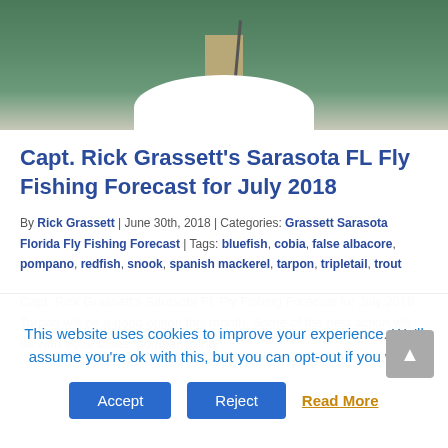[Figure (photo): Cropped photo showing person's legs on a boat bow, green water background]
Capt. Rick Grassett's Sarasota FL Fly Fishing Forecast for July 2018
By Rick Grassett | June 30th, 2018 | Categories: Grassett Sarasota Florida Fly Fishing Forecast | Tags: bluefish, cobia, false albacore, pompano, redfish, snook, spanish mackerel, tarpon, tripletail, trout
Capt. Rick Grassett's Sarasota FL Fly Fishing Forecast for July 2018 Tarpon will be a good option this month. Some of the best action will be with trout, blues, pompano and
This website uses cookies to improve your experience. We'll assume you're ok with this, but you can opt-out if you wish.